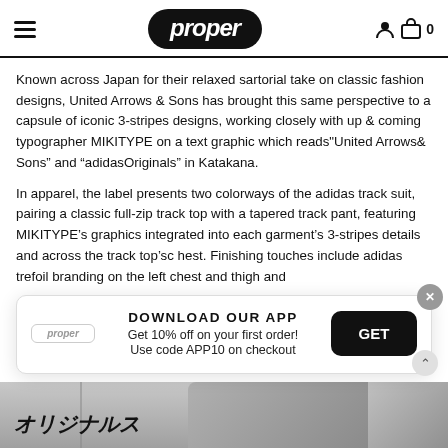proper — navigation header with hamburger menu, logo, user icon, cart icon (0)
Known across Japan for their relaxed sartorial take on classic fashion designs, United Arrows & Sons has brought this same perspective to a capsule of iconic 3-stripes designs, working closely with up & coming typographer MIKITYPE on a text graphic which reads"United Arrows& Sons" and "adidasOriginals" in Katakana.
In apparel, the label presents two colorways of the adidas track suit, pairing a classic full-zip track top with a tapered track pant, featuring MIKITYPE's graphics integrated into each garment's 3-stripes details and across the track top'sc hest. Finishing touches include adidas trefoil branding on the left chest and thigh and
[Figure (screenshot): App download popup banner with 'DOWNLOAD OUR APP', 'Get 10% off on your first order!', 'Use code APP10 on checkout', a GET button, proper logo, and X close button]
[Figure (photo): Bottom strip showing Katakana text (オリジナルス) on left and partial photo of person in adidas tracksuit on right]